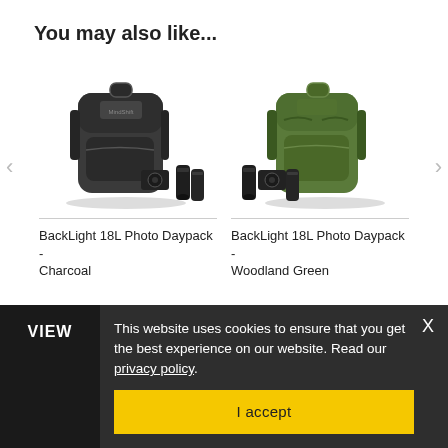You may also like...
[Figure (photo): Black camera backpack with two camera lenses in front (BackLight 18L Photo Daypack - Charcoal)]
[Figure (photo): Green camera backpack with two camera lenses in front (BackLight 18L Photo Daypack - Woodland Green)]
BackLight 18L Photo Daypack - Charcoal
BackLight 18L Photo Daypack - Woodland Green
This website uses cookies to ensure that you get the best experience on our website. Read our privacy policy.
I accept